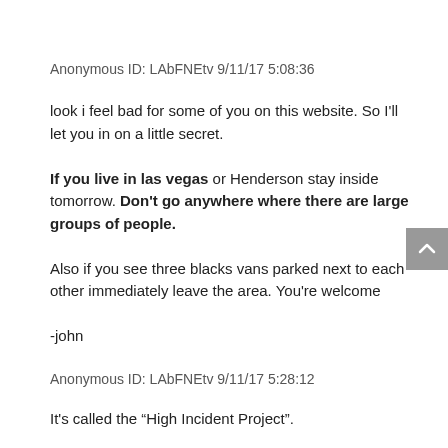Anonymous ID: LAbFNEtv 9/11/17 5:08:36
look i feel bad for some of you on this website. So I'll let you in on a little secret.

If you live in las vegas or Henderson stay inside tomorrow. Don't go anywhere where there are large groups of people.

Also if you see three blacks vans parked next to each other immediately leave the area. You're welcome

-john
Anonymous ID: LAbFNEtv 9/11/17 5:28:12
It's called the “High Incident Project”.